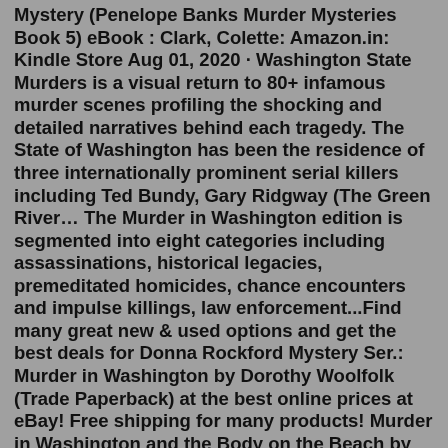Mystery (Penelope Banks Murder Mysteries Book 5) eBook : Clark, Colette: Amazon.in: Kindle Store Aug 01, 2020 · Washington State Murders is a visual return to 80+ infamous murder scenes profiling the shocking and detailed narratives behind each tragedy. The State of Washington has been the residence of three internationally prominent serial killers including Ted Bundy, Gary Ridgway (The Green River… The Murder in Washington edition is segmented into eight categories including assassinations, historical legacies, premeditated homicides, chance encounters and impulse killings, law enforcement...Find many great new & used options and get the best deals for Donna Rockford Mystery Ser.: Murder in Washington by Dorothy Woolfolk (Trade Paperback) at the best online prices at eBay! Free shipping for many products! Murder in Washington and the Body on the Beach by Dorothy Woolfolk Goodreads helps you keep track of books you want to read. Start by marking "Murder in Washington and the Body on the Beach (Donna...